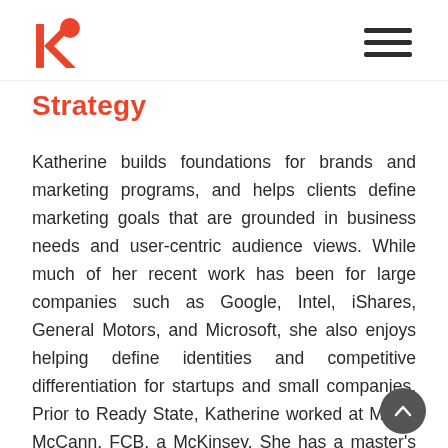Ready State logo and navigation
Strategy
Katherine builds foundations for brands and marketing programs, and helps clients define marketing goals that are grounded in business needs and user-centric audience views. While much of her recent work has been for large companies such as Google, Intel, iShares, General Motors, and Microsoft, she also enjoys helping define identities and competitive differentiation for startups and small companies. Prior to Ready State, Katherine worked at MRM, McCann, FCB, a McKinsey. She has a master's in business